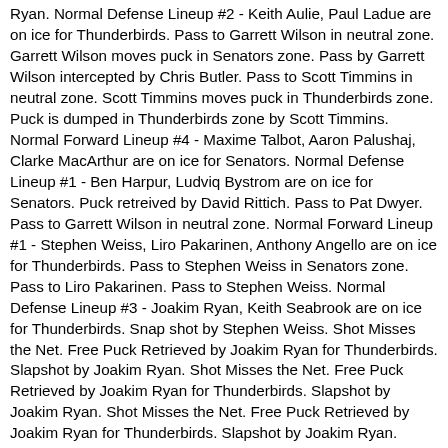Ryan. Normal Defense Lineup #2 - Keith Aulie, Paul Ladue are on ice for Thunderbirds. Pass to Garrett Wilson in neutral zone. Garrett Wilson moves puck in Senators zone. Pass by Garrett Wilson intercepted by Chris Butler. Pass to Scott Timmins in neutral zone. Scott Timmins moves puck in Thunderbirds zone. Puck is dumped in Thunderbirds zone by Scott Timmins. Normal Forward Lineup #4 - Maxime Talbot, Aaron Palushaj, Clarke MacArthur are on ice for Senators. Normal Defense Lineup #1 - Ben Harpur, Ludviq Bystrom are on ice for Senators. Puck retreived by David Rittich. Pass to Pat Dwyer. Pass to Garrett Wilson in neutral zone. Normal Forward Lineup #1 - Stephen Weiss, Liro Pakarinen, Anthony Angello are on ice for Thunderbirds. Pass to Stephen Weiss in Senators zone. Pass to Liro Pakarinen. Pass to Stephen Weiss. Normal Defense Lineup #3 - Joakim Ryan, Keith Seabrook are on ice for Thunderbirds. Snap shot by Stephen Weiss. Shot Misses the Net. Free Puck Retrieved by Joakim Ryan for Thunderbirds. Slapshot by Joakim Ryan. Shot Misses the Net. Free Puck Retrieved by Joakim Ryan for Thunderbirds. Slapshot by Joakim Ryan. Shot Misses the Net. Free Puck Retrieved by Joakim Ryan for Thunderbirds. Slapshot by Joakim Ryan. Stopped by Igor Bobkov with a rebound. Free Puck Retrieved by Stephen Weiss for Thunderbirds. Normal Defense Lineup #2 - Keith Aulie, Paul Ladue are on ice for Thunderbirds. Slapshot by Stephen Weiss. Deflect By Liro Pakarinen. Shot Blocked by Ben Harpur. Puck is out of play. Normal Forward Lineup #1 - Scott Timmins, Christoph Bertschy, Daniel Carr are on